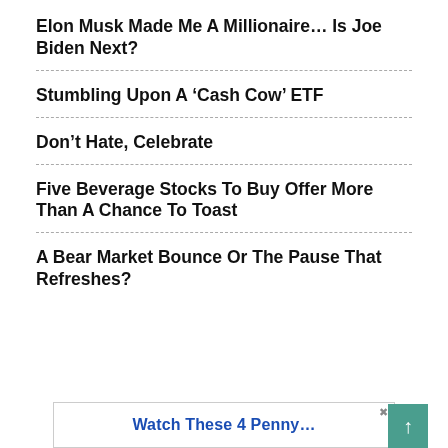Elon Musk Made Me A Millionaire… Is Joe Biden Next?
Stumbling Upon A ‘Cash Cow’ ETF
Don’t Hate, Celebrate
Five Beverage Stocks To Buy Offer More Than A Chance To Toast
A Bear Market Bounce Or The Pause That Refreshes?
[Figure (other): Advertisement banner with text 'Watch These 4 Penny...' in blue, with a close button (X) and a teal scroll-to-top button with an up arrow on the right.]